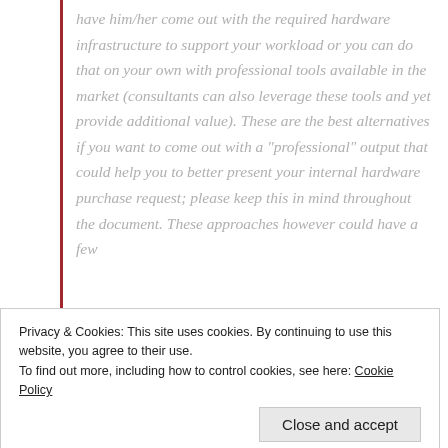have him/her come out with the required hardware infrastructure to support your workload or you can do that on your own with professional tools available in the market (consultants can also leverage these tools and yet provide additional value). These are the best alternatives if you want to come out with a "professional" output that could help you to better present your internal hardware purchase request; please keep this in mind throughout the document. These approaches however could have a few
Privacy & Cookies: This site uses cookies. By continuing to use this website, you agree to their use.
To find out more, including how to control cookies, see here: Cookie Policy
Close and accept